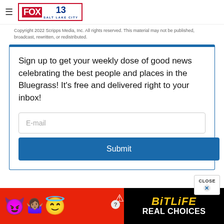FOX 13 SALT LAKE CITY
Copyright 2022 Scripps Media, Inc. All rights reserved. This material may not be published, broadcast, rewritten, or redistributed.
Sign up to get your weekly dose of good news celebrating the best people and places in the Bluegrass! It's free and delivered right to your inbox!
[Figure (screenshot): Email signup form with E-mail input field and Submit button]
[Figure (screenshot): BitLife advertisement banner with emoji characters and REAL CHOICES text]